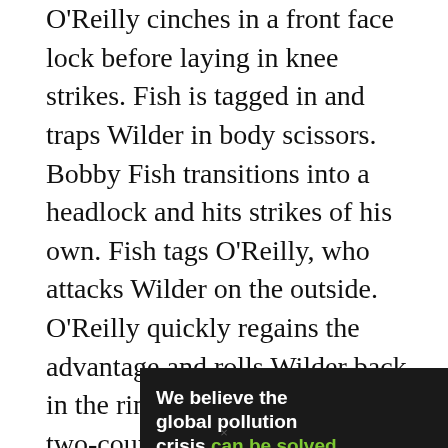O'Reilly cinches in a front face lock before laying in knee strikes. Fish is tagged in and traps Wilder in body scissors. Bobby Fish transitions into a headlock and hits strikes of his own. Fish tags O'Reilly, who attacks Wilder on the outside. O'Reilly quickly regains the advantage and rolls Wilder back in the ring, pinning him for a two-count.
[Figure (other): Advertisement banner for Pure Earth organization. Left dark section reads 'We believe the global pollution crisis can be solved.' with 'can be solved.' in green. Right dark section reads 'In a world where pollution doesn't stop at borders, we can all be part of the solution. JOIN US.' in yellow. Right white section shows Pure Earth logo with diamond/arrow icon in gold and green.]
×